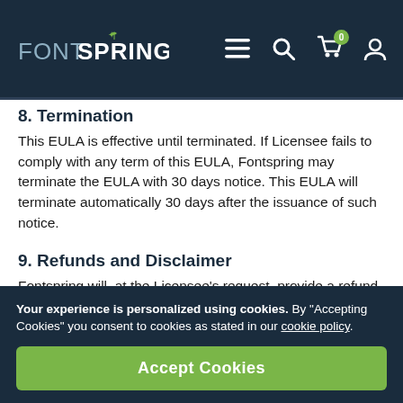FONTSPRING navigation bar with logo, menu, search, cart (0), and user icons
8. Termination
This EULA is effective until terminated. If Licensee fails to comply with any term of this EULA, Fontspring may terminate the EULA with 30 days notice. This EULA will terminate automatically 30 days after the issuance of such notice.
9. Refunds and Disclaimer
Fontspring will, at the Licensee’s request, provide a refund for the Font if:
Your experience is personalized using cookies. By “Accepting Cookies” you consent to cookies as stated in our cookie policy.
Accept Cookies